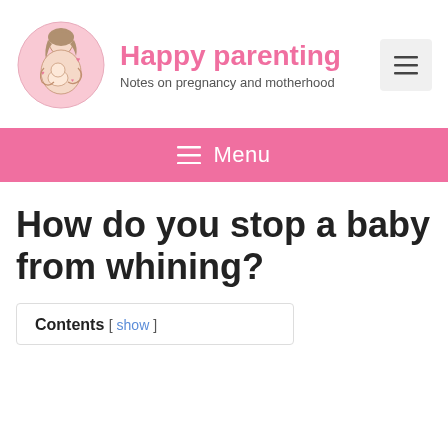[Figure (logo): Circular logo illustration of a mother holding a baby, pink tones, line art style]
Happy parenting
Notes on pregnancy and motherhood
[Figure (other): Hamburger menu icon button in grey box]
≡ Menu
How do you stop a baby from whining?
Contents [ show ]